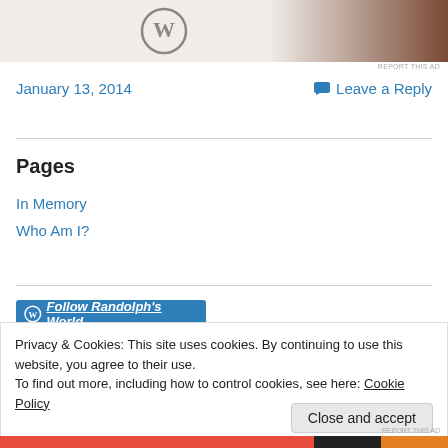[Figure (photo): Top image area with WordPress logo and partial photo of person, with 'REPORT THIS AD' caption]
January 13, 2014
Leave a Reply
Pages
In Memory
Who Am I?
Follow Randolph's World
Privacy & Cookies: This site uses cookies. By continuing to use this website, you agree to their use.
To find out more, including how to control cookies, see here: Cookie Policy
Close and accept